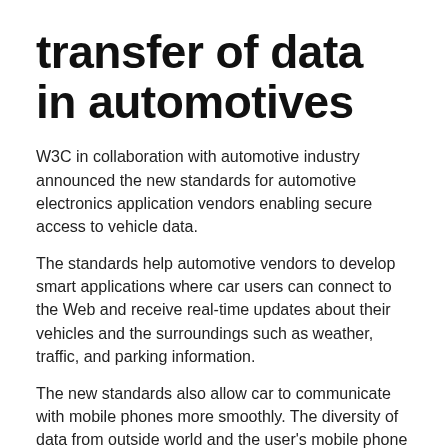transfer of data in automotives
W3C in collaboration with automotive industry announced the new standards for automotive electronics application vendors enabling secure access to vehicle data.
The standards help automotive vendors to develop smart applications where car users can connect to the Web and receive real-time updates about their vehicles and the surroundings such as weather, traffic, and parking information.
The new standards also allow car to communicate with mobile phones more smoothly. The diversity of data from outside world and the user's mobile phone and the car itself need these standards for transfer of data in a secured manner. The new standards also address privacy related issues and also safe driving.
The new standards are developed in collaboration with semiconductor chip makers, Internet browser makers, and mobile service operators. They have come together in February 2013 to